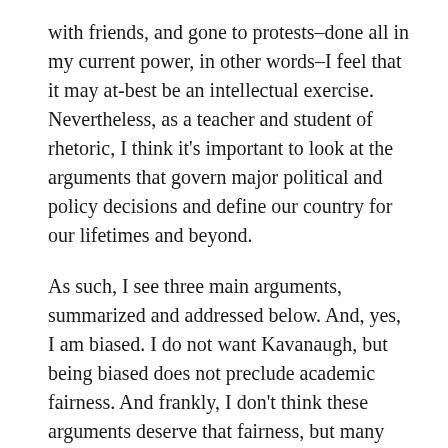with friends, and gone to protests–done all in my current power, in other words–I feel that it may at-best be an intellectual exercise. Nevertheless, as a teacher and student of rhetoric, I think it's important to look at the arguments that govern major political and policy decisions and define our country for our lifetimes and beyond.
As such, I see three main arguments, summarized and addressed below. And, yes, I am biased. I do not want Kavanaugh, but being biased does not preclude academic fairness. And frankly, I don't think these arguments deserve that fairness, but many Americans (cough, Republicans) support him, so here we go.